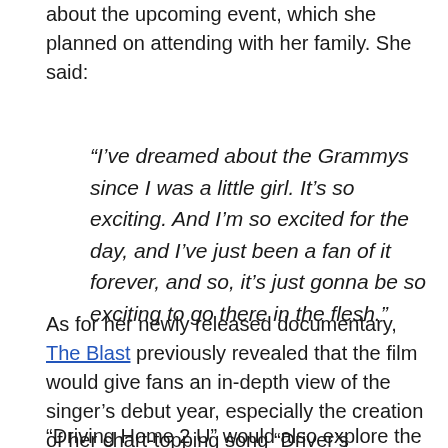about the upcoming event, which she planned on attending with her family. She said:
“I’ve dreamed about the Grammys since I was a little girl. It’s so exciting. And I’m so excited for the day, and I’ve just been a fan of it forever, and so, it’s just gonna be so exciting to go there in the flesh.”
As for her newly released documentary, The Blast previously revealed that the film would give fans an in-depth view of the singer’s debut year, especially the creation of her chart-topping song “Driver’s license.”
“Driving Home 2 U” would also explore the story